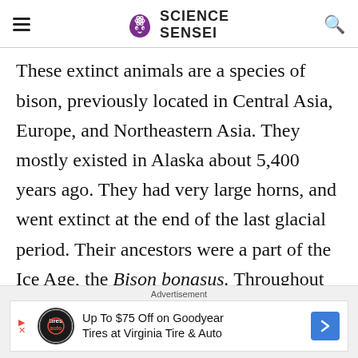SCIENCE SENSEI
These extinct animals are a species of bison, previously located in Central Asia, Europe, and Northeastern Asia. They mostly existed in Alaska about 5,400 years ago. They had very large horns, and went extinct at the end of the last glacial period. Their ancestors were a part of the Ice Age, the Bison bonasus. Throughout evolution,
Advertisement
Up To $75 Off on Goodyear Tires at Virginia Tire & Auto